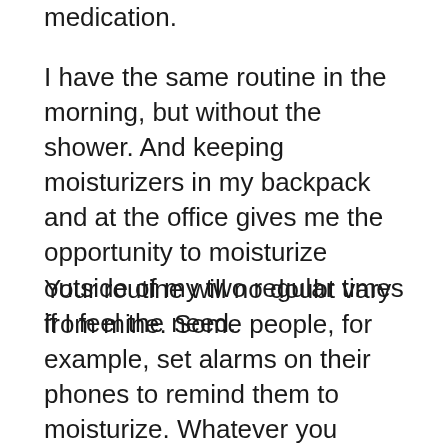medication.
I have the same routine in the morning, but without the shower. And keeping moisturizers in my backpack and at the office gives me the opportunity to moisturize outside of my two regular times if I feel the need.
Your routine will no doubt vary from mine. Some people, for example, set alarms on their phones to remind them to moisturize. Whatever you decide, stick to a routine that works. If you need to, modify your routine